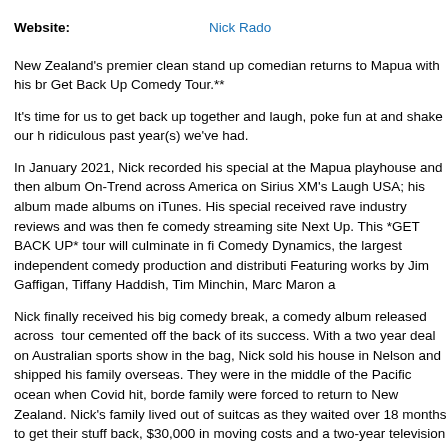Website: Nick Rado
New Zealand's premier clean stand up comedian returns to Mapua with his br... Get Back Up Comedy Tour.**
It's time for us to get back up together and laugh, poke fun at and shake our h... ridiculous past year(s) we've had.
In January 2021, Nick recorded his special at the Mapua playhouse and then... album On-Trend across America on Sirius XM's Laugh USA; his album made... albums on iTunes. His special received rave industry reviews and was then fe... comedy streaming site Next Up. This *GET BACK UP* tour will culminate in fi... Comedy Dynamics, the largest independent comedy production and distributi... Featuring works by Jim Gaffigan, Tiffany Haddish, Tim Minchin, Marc Maron a...
Nick finally received his big comedy break, a comedy album released across... tour cemented off the back of its success. With a two year deal on Australian... sports show in the bag, Nick sold his house in Nelson and shipped his family... overseas. They were in the middle of the Pacific ocean when Covid hit, borde... family were forced to return to New Zealand. Nick's family lived out of suitcas... as they waited over 18 months to get their stuff back, $30,000 in moving costs... and a two-year television contract down the drain. It's now time for Nick Rado... and in life.